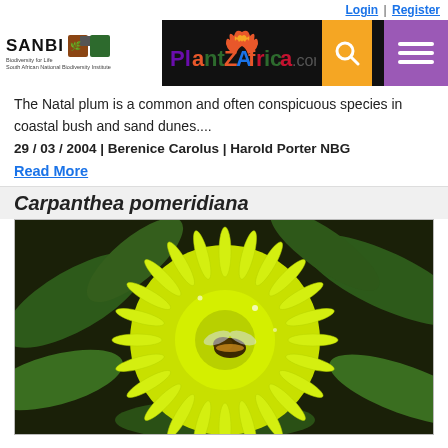Login | Register
[Figure (logo): SANBI PlantZAfrica.com navigation bar with search and hamburger menu buttons]
The Natal plum is a common and often conspicuous species in coastal bush and sand dunes....
29 / 03 / 2004 | Berenice Carolus | Harold Porter NBG
Read More
Carpanthea pomeridiana
[Figure (photo): Close-up photo of a bright yellow Carpanthea pomeridiana flower with spiky petals and a bee in the center, surrounded by dark green succulent leaves]